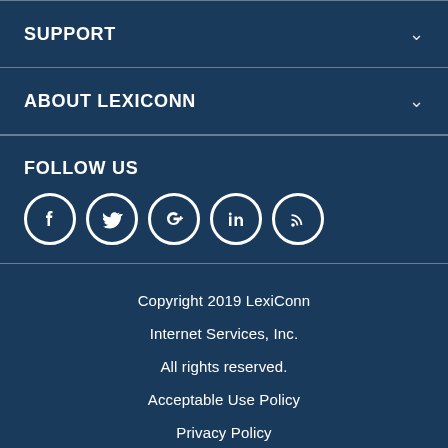SUPPORT
ABOUT LEXICONN
FOLLOW US
[Figure (illustration): Row of five white social media icons on dark blue background: Facebook, Twitter, Google+, LinkedIn, RSS feed]
Copyright 2019 LexiConn Internet Services, Inc. All rights reserved. Acceptable Use Policy Privacy Policy